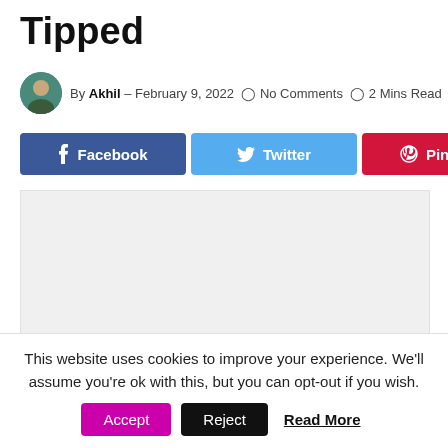Tipped
By Akhil – February 9, 2022  No Comments  2 Mins Read
[Figure (other): Social share buttons: Facebook, Twitter, Pinterest, and a generic share button]
[Figure (other): Advertisement or content placeholder block (light gray rectangle)]
This website uses cookies to improve your experience. We'll assume you're ok with this, but you can opt-out if you wish.
Accept   Reject   Read More